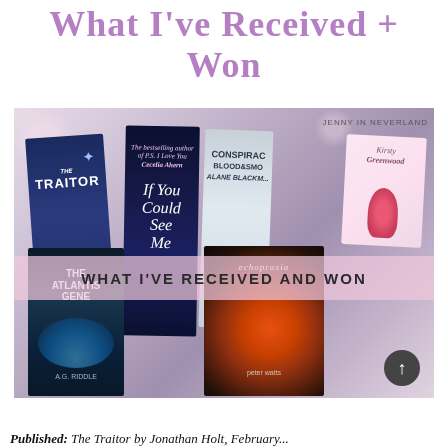What I've Received + Won
[Figure (photo): Photo of several books laid out on a bed/surface, including The Traitor by Jonathan Holt, If You Could See Me by Cecelia Ahern, a Conspiracy of Blood and Smoke book, a card by Kirsty Greenwood, The Atlantis Gene by A.G. Riddle, and Echopraxia by Peter Watts. A pink semi-transparent banner overlays the middle of the image reading 'WHAT I'VE RECEIVED AND WON'. The watermark 'JENNY IN NEVERLAND' appears in the top right corner. A dark circular scroll-to-top button is visible in the bottom right.]
Published: The Traitor by Jonathan Holt, February...